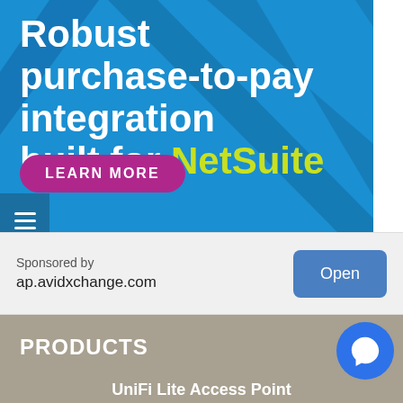[Figure (illustration): Blue advertisement banner with diagonal dark stripe accents. White bold text reads 'Robust purchase-to-pay integration built for' with 'NetSuite' in yellow-green. A magenta pill-shaped button says 'LEARN MORE'. Hamburger menu icon on left side.]
Sponsored by
ap.avidxchange.com
Open
PRODUCTS
UniFi Lite Access Point